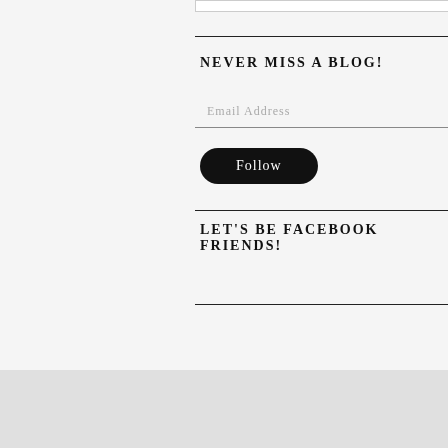NEVER MISS A BLOG!
Email Address
Follow
LET'S BE FACEBOOK FRIENDS!